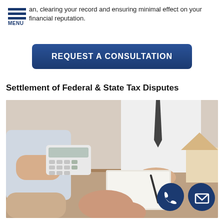an, clearing your record and ensuring minimal effect on your financial reputation.
REQUEST A CONSULTATION
Settlement of Federal & State Tax Disputes
[Figure (photo): Two people at a desk consultation, one holding a calculator, with a house model, clipboard with pen, in a professional meeting setting.]